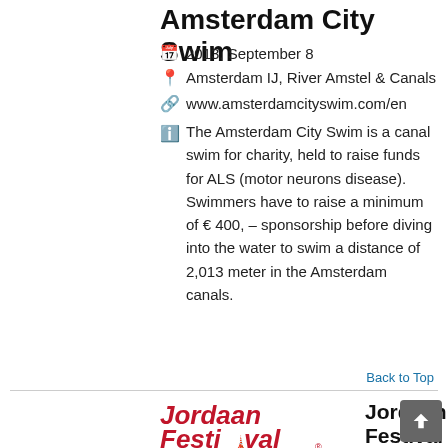Amsterdam City Swim
2013, September 8
Amsterdam IJ, River Amstel & Canals
www.amsterdamcityswim.com/en
The Amsterdam City Swim is a canal swim for charity, held to raise funds for ALS (motor neurons disease). Swimmers have to raise a minimum of € 400, – sponsorship before diving into the water to swim a distance of 2,013 meter in the Amsterdam canals.
Back to Top
[Figure (logo): Jordaan Festival logo in red italic bold text]
Jordaan Festival